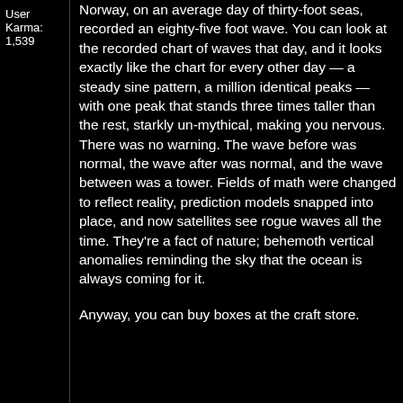User Karma: 1,539
Norway, on an average day of thirty-foot seas, recorded an eighty-five foot wave. You can look at the recorded chart of waves that day, and it looks exactly like the chart for every other day — a steady sine pattern, a million identical peaks — with one peak that stands three times taller than the rest, starkly un-mythical, making you nervous. There was no warning. The wave before was normal, the wave after was normal, and the wave between was a tower. Fields of math were changed to reflect reality, prediction models snapped into place, and now satellites see rogue waves all the time. They're a fact of nature; behemoth vertical anomalies reminding the sky that the ocean is always coming for it.
Anyway, you can buy boxes at the craft store.